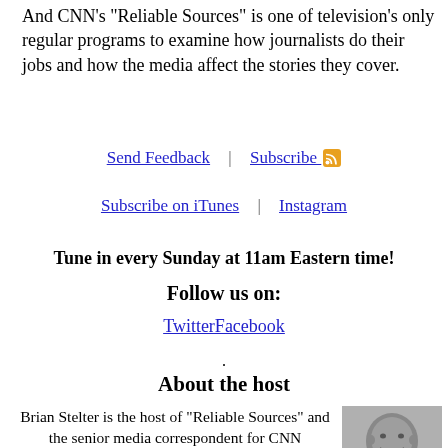And CNN's "Reliable Sources" is one of television's only regular programs to examine how journalists do their jobs and how the media affect the stories they cover.
Send Feedback | Subscribe [RSS] | Subscribe on iTunes | Instagram
Tune in every Sunday at 11am Eastern time!
Follow us on:
TwitterFacebook
.
About the host
Brian Stelter is the host of "Reliable Sources" and the senior media correspondent for CNN Worldwide. Before he joined CNN in November 2013, Stelter was a media reporter for The New
[Figure (photo): Black and white headshot photo of Brian Stelter smiling]